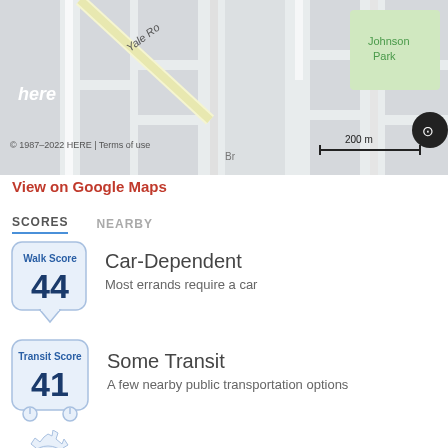[Figure (map): Street map showing Yale Road area with Johnson Park labeled, HERE maps attribution, 200m scale bar, and layer toggle button]
View on Google Maps
SCORES   NEARBY
[Figure (infographic): Walk Score badge showing score of 44]
Car-Dependent
Most errands require a car
[Figure (infographic): Transit Score badge showing score of 41]
Some Transit
A few nearby public transportation options
[Figure (infographic): Bike Score badge showing score of 63]
Bikeable
Some bike infrastructure